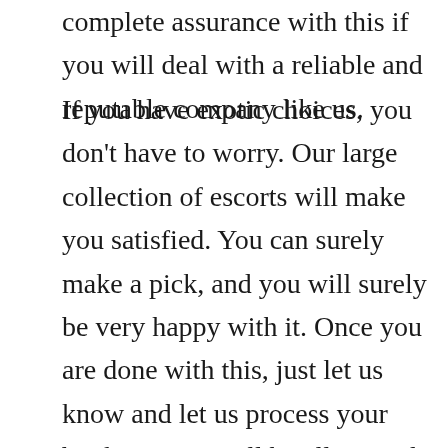complete assurance with this if you will deal with a reliable and reputable company like us.
If you have exotic choices, you don't have to worry. Our large collection of escorts will make you satisfied. You can surely make a pick, and you will surely be very happy with it. Once you are done with this, just let us know and let us process your booking. You will be all set and you can now be excited waiting for the escort that we will send right into your desired place. There will be no hassle and inconveniences during the entire process. You will love dealing with a good escort company like ours.